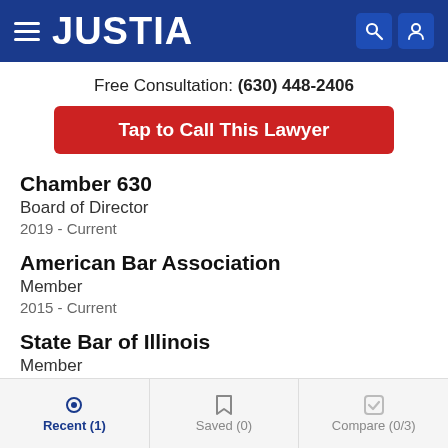JUSTIA
Free Consultation: (630) 448-2406
Tap to Call This Lawyer
Chamber 630
Board of Director
2019 - Current
American Bar Association
Member
2015 - Current
State Bar of Illinois
Member
2011 - Current
Recent (1)   Saved (0)   Compare (0/3)